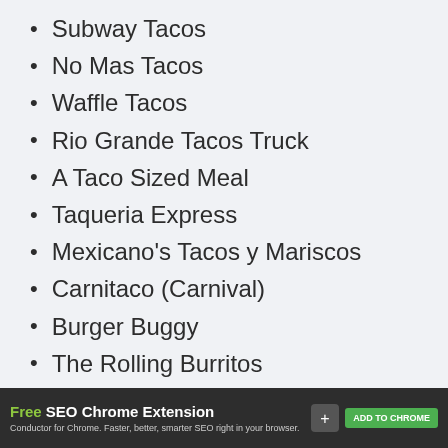Subway Tacos
No Mas Tacos
Waffle Tacos
Rio Grande Tacos Truck
A Taco Sized Meal
Taqueria Express
Mexicano's Tacos y Mariscos
Carnitaco (Carnival)
Burger Buggy
The Rolling Burritos
Benny's Burritos
Carne Asada Taco's
Free SEO Chrome Extension — Conductor for Chrome. Faster, better, smarter SEO right in your browser. ADD TO CHROME